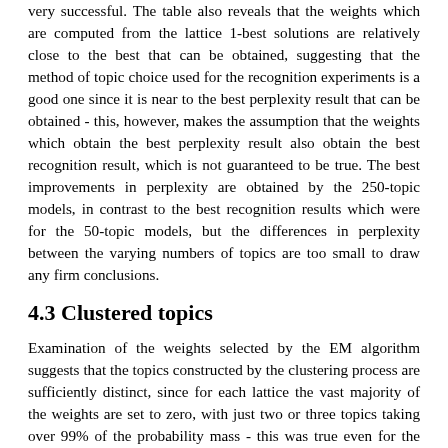very successful. The table also reveals that the weights which are computed from the lattice 1-best solutions are relatively close to the best that can be obtained, suggesting that the method of topic choice used for the recognition experiments is a good one since it is near to the best perplexity result that can be obtained - this, however, makes the assumption that the weights which obtain the best perplexity result also obtain the best recognition result, which is not guaranteed to be true. The best improvements in perplexity are obtained by the 250-topic models, in contrast to the best recognition results which were for the 50-topic models, but the differences in perplexity between the varying numbers of topics are too small to draw any firm conclusions.
4.3 Clustered topics
Examination of the weights selected by the EM algorithm suggests that the topics constructed by the clustering process are sufficiently distinct, since for each lattice the vast majority of the weights are set to zero, with just two or three topics taking over 99% of the probability mass - this was true even for the 500 topic model. This suggests that the clustering worked well, and furthermore that the tree division method did not significantly affect its performance. It is possible that the clustering method could be improved by discarding articles that do not fit any topic well, but this has not been investigated. Examination suggests a few clusters that look